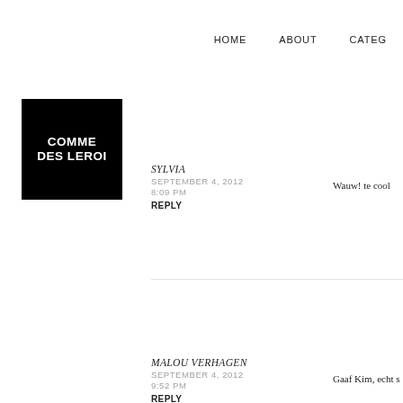HOME   ABOUT   CATEG…
[Figure (logo): COMME DES LEROI logo — white text on black square background]
SYLVIA
SEPTEMBER 4, 2012
8:09 PM
REPLY
Wauw! te cool
MALOU VERHAGEN
SEPTEMBER 4, 2012
9:52 PM
REPLY
Gaaf Kim, echt s